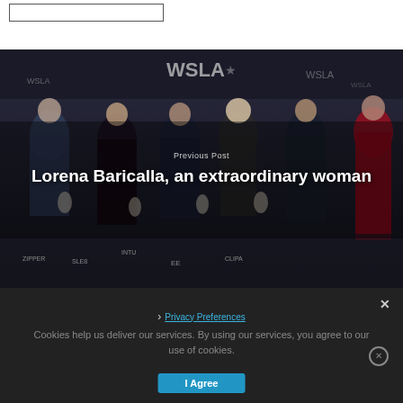[Figure (photo): Group photo at WSLA (World Sports Legends Awards) ceremony. Six people in formal attire holding awards trophies in front of a sponsor backdrop with WSLA logos. A woman in a red dress stands on the right.]
Previous Post
Lorena Baricalla, an extraordinary woman
Cookies help us deliver our services. By using our services, you agree to our use of cookies.
Privacy Preferences
I Agree